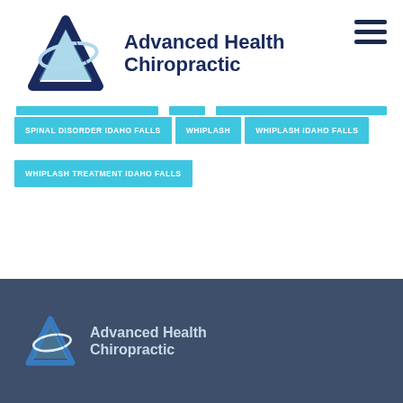[Figure (logo): Advanced Health Chiropractic logo with blue geometric 'A' shape and swoosh, next to bold navy text 'Advanced Health Chiropractic']
SPINAL DISORDER IDAHO FALLS
WHIPLASH
WHIPLASH IDAHO FALLS
WHIPLASH TREATMENT IDAHO FALLS
[Figure (logo): Advanced Health Chiropractic logo repeated in footer on dark blue-grey background]